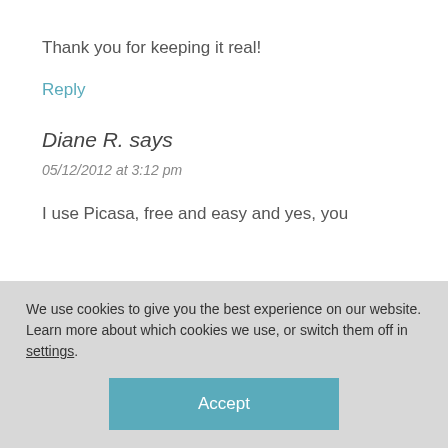Thank you for keeping it real!
Reply
Diane R. says
05/12/2012 at 3:12 pm
I use Picasa, free and easy and yes, you
We use cookies to give you the best experience on our website.
Learn more about which cookies we use, or switch them off in settings.
Accept